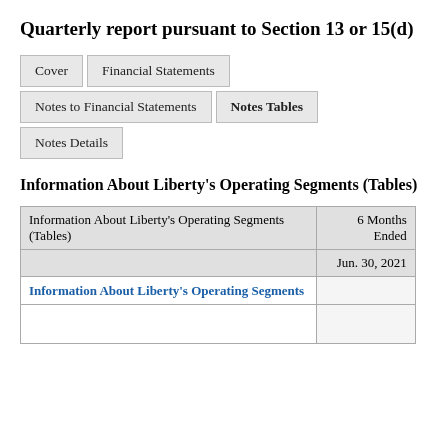Quarterly report pursuant to Section 13 or 15(d)
Cover | Financial Statements | Notes to Financial Statements | Notes Tables | Notes Details
Information About Liberty's Operating Segments (Tables)
| Information About Liberty's Operating Segments (Tables) | 6 Months Ended
Jun. 30, 2021 |
| --- | --- |
| Information About Liberty's Operating Segments |  |